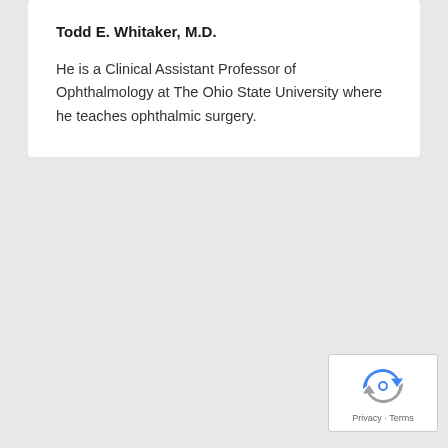Todd E. Whitaker, M.D.
He is a Clinical Assistant Professor of Ophthalmology at The Ohio State University where he teaches ophthalmic surgery.
[Figure (logo): reCAPTCHA badge with Google logo and Privacy - Terms text]